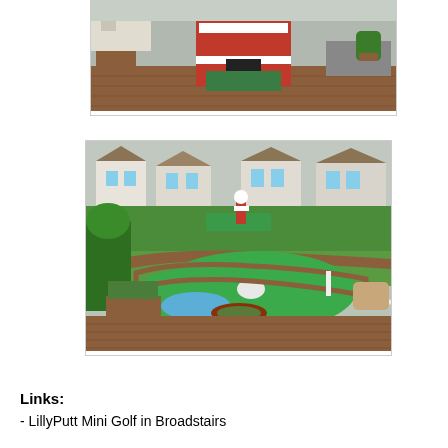[Figure (photo): Photo of a miniature golf hole with a red and white ramp/obstacle on brick paving, with potted plants and garden furniture in the background.]
[Figure (photo): Wide-angle photo of a mini golf course with a kidney-shaped green putting surface, brick edging, flower beds, terracotta pots, and residential houses in the background. A red and white clown or figure is visible in the middle distance.]
Links:
- LillyPutt Mini Golf in Broadstairs